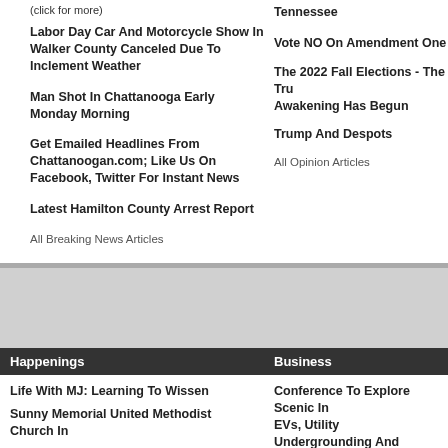(click for more)
Labor Day Car And Motorcycle Show In Walker County Canceled Due To Inclement Weather
Man Shot In Chattanooga Early Monday Morning
Get Emailed Headlines From Chattanoogan.com; Like Us On Facebook, Twitter For Instant News
Latest Hamilton County Arrest Report
All Breaking News Articles
Tennessee
Vote NO On Amendment One
The 2022 Fall Elections - The Tru... Awakening Has Begun
Trump And Despots
All Opinion Articles
Happenings
Business
Life With MJ: Learning To Wissen
Conference To Explore Scenic In... EVs, Utility Undergrounding And... For Oct. 19-21